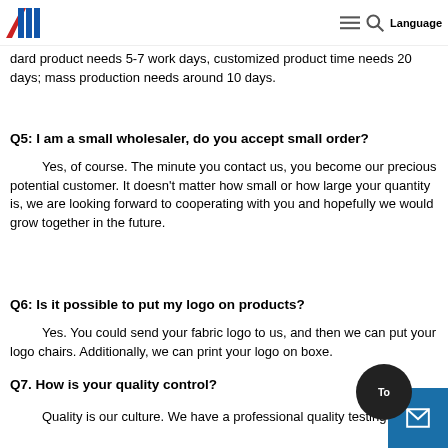Q4: What about the lead time? [logo and navigation]
standard product needs 5-7 work days, customized product time needs 20 days; mass production needs around 10 days.
Q5: I am a small wholesaler, do you accept small order?
Yes, of course. The minute you contact us, you become our precious potential customer. It doesn't matter how small or how large your quantity is, we are looking forward to cooperating with you and hopefully we would grow together in the future.
Q6: Is it possible to put my logo on products?
Yes. You could send your fabric logo to us, and then we can put your logo chairs. Additionally, we can print your logo on boxe.
Q7. How is your quality control?
Quality is our culture. We have a professional quality testing center